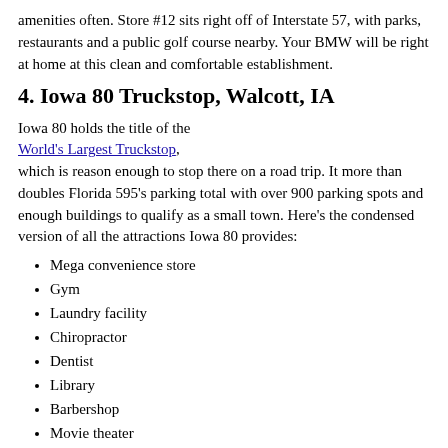amenities often. Store #12 sits right off of Interstate 57, with parks, restaurants and a public golf course nearby. Your BMW will be right at home at this clean and comfortable establishment.
4. Iowa 80 Truckstop, Walcott, IA
Iowa 80 holds the title of the World's Largest Truckstop, which is reason enough to stop there on a road trip. It more than doubles Florida 595's parking total with over 900 parking spots and enough buildings to qualify as a small town. Here's the condensed version of all the attractions Iowa 80 provides:
Mega convenience store
Gym
Laundry facility
Chiropractor
Dentist
Library
Barbershop
Movie theater
Pet grooming salon
No matter your interest, we can safely say that Iowa 80 has an open parking spot for your BMW. It sits almost exactly halfway